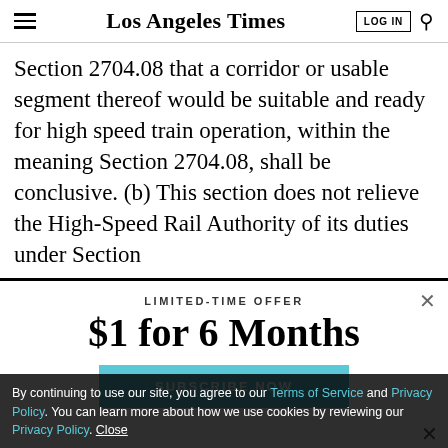Los Angeles Times
Section 2704.08 that a corridor or usable segment thereof would be suitable and ready for high speed train operation, within the meaning Section 2704.08, shall be conclusive. (b) This section does not relieve the High-Speed Rail Authority of its duties under Section
LIMITED-TIME OFFER
$1 for 6 Months
SUBSCRIBE NOW
By continuing to use our site, you agree to our Terms of Service and Privacy Policy. You can learn more about how we use cookies by reviewing our Privacy Policy. Close